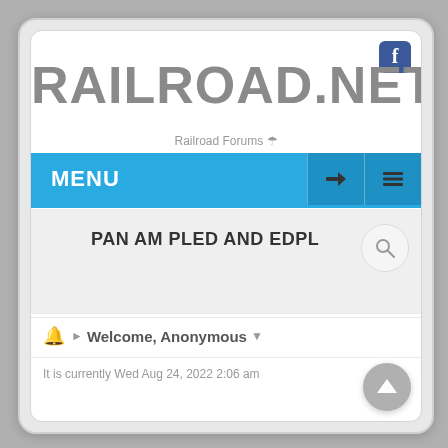[Figure (logo): Facebook icon button top-right, blue square with white f letter]
RAILROAD.NET
Railroad Forums 🌂
MENU
PAN AM PLED AND EDPL
Welcome, Anonymous
It is currently Wed Aug 24, 2022 2:06 am